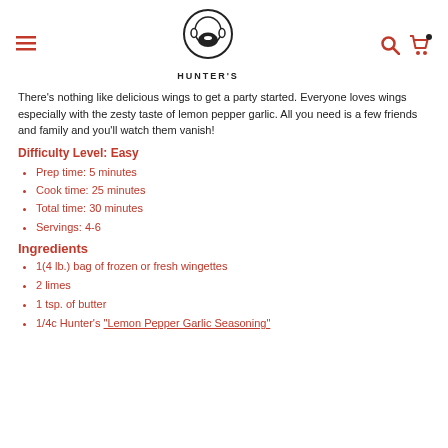Hunter's — navigation header with menu, logo, search, and cart icons
There's nothing like delicious wings to get a party started.  Everyone loves wings especially with the zesty taste of lemon pepper garlic.  All you need is a few friends and family and you'll watch them vanish!
Difficulty Level: Easy
Prep time: 5 minutes
Cook time: 25 minutes
Total time: 30 minutes
Servings: 4-6
Ingredients
1(4 lb.) bag of frozen or fresh wingettes
2 limes
1 tsp. of butter
1/4c Hunter's "Lemon Pepper Garlic Seasoning"